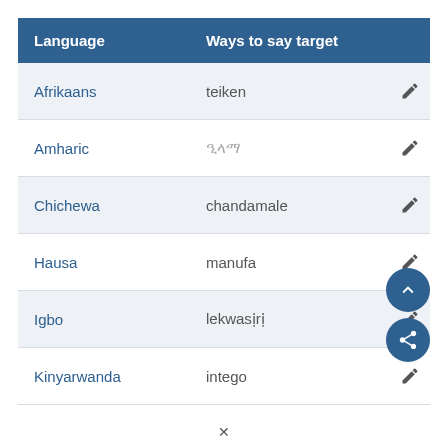| Language | Ways to say target |
| --- | --- |
| Afrikaans | teiken |
| Amharic | ዒላማ |
| Chichewa | chandamale |
| Hausa | manufa |
| Igbo | lekwasịrị |
| Kinyarwanda | intego |